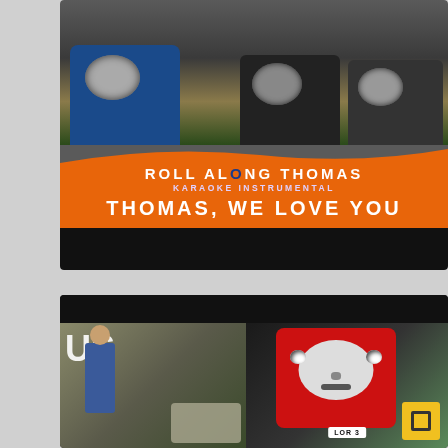[Figure (photo): Top card showing Thomas the Tank Engine characters (three trains with faces) on tracks, with orange banner below reading ROLL ALONG THOMAS / KARAOKE INSTRUMENTAL / THOMAS, WE LOVE YOU, followed by a black bar]
[Figure (photo): Bottom card showing two scenes: left side has a figure near sacks with large 'US' text; right side shows a red train face labeled LOR 3, with a yellow box in bottom-right corner]